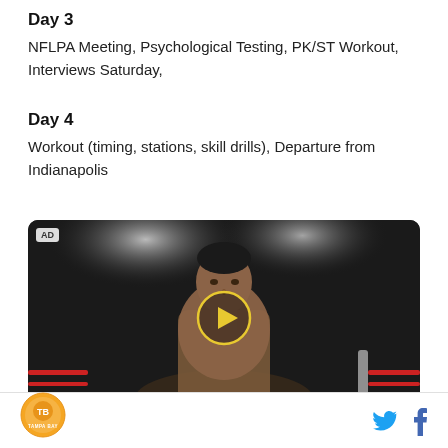Day 3
NFLPA Meeting, Psychological Testing, PK/ST Workout, Interviews Saturday,
Day 4
Workout (timing, stations, skill drills), Departure from Indianapolis
[Figure (screenshot): Video player showing a boxer/athlete in a boxing ring with stage lighting. An AD badge is shown in the top-left corner and a yellow play button circle is centered over the image.]
[Figure (logo): Tampa Bay logo - circular orange logo with Tampa Bay text]
[Figure (other): Twitter and Facebook social media icons in footer]